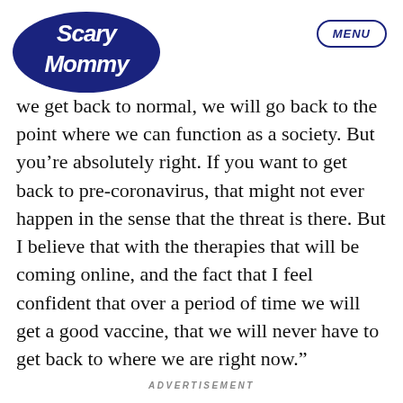[Figure (logo): Scary Mommy logo in dark navy blue, stylized script text]
[Figure (other): MENU button in dark navy blue oval outline with italic bold text]
we get back to normal, we will go back to the point where we can function as a society. But you’re absolutely right. If you want to get back to pre-coronavirus, that might not ever happen in the sense that the threat is there. But I believe that with the therapies that will be coming online, and the fact that I feel confident that over a period of time we will get a good vaccine, that we will never have to get back to where we are right now.”
ADVERTISEMENT